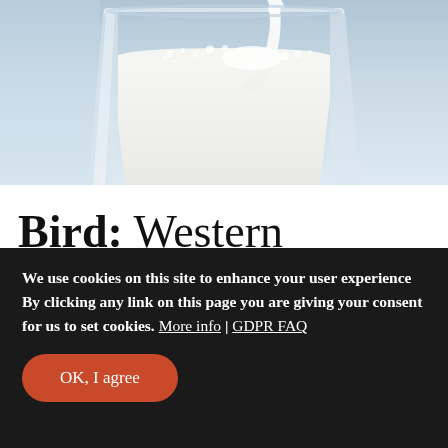[Figure (photo): A close-up photo of milk being poured into a clear glass against a light blue background. The glass is filled with white milk, with a stream of milk pouring in from above, creating bubbles and foam at the surface.]
Bird: Western Mockingbird
We use cookies on this site to enhance your user experience By clicking any link on this page you are giving your consent for us to set cookies. More info | GDPR FAQ
OK, I agree